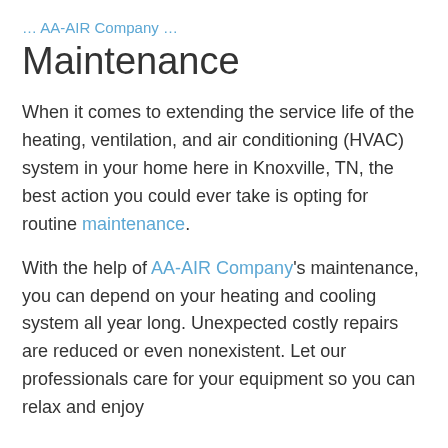… AA-AIR Company …
Maintenance
When it comes to extending the service life of the heating, ventilation, and air conditioning (HVAC) system in your home here in Knoxville, TN, the best action you could ever take is opting for routine maintenance.
With the help of AA-AIR Company's maintenance, you can depend on your heating and cooling system all year long. Unexpected costly repairs are reduced or even nonexistent. Let our professionals care for your equipment so you can relax and enjoy